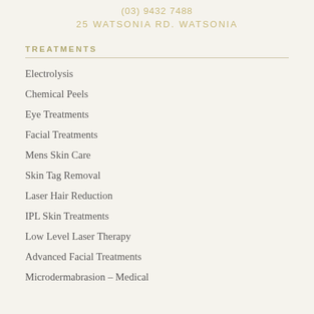(03) 9432 7488
25 WATSONIA RD. WATSONIA
TREATMENTS
Electrolysis
Chemical Peels
Eye Treatments
Facial Treatments
Mens Skin Care
Skin Tag Removal
Laser Hair Reduction
IPL Skin Treatments
Low Level Laser Therapy
Advanced Facial Treatments
Microdermabrasion – Medical